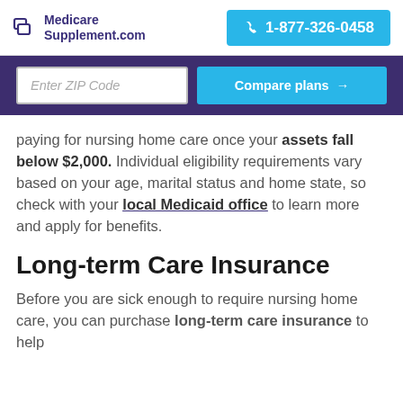Medicare Supplement.com | 1-877-326-0458
[Figure (screenshot): Purple banner with Enter ZIP Code input and Compare plans button]
paying for nursing home care once your assets fall below $2,000. Individual eligibility requirements vary based on your age, marital status and home state, so check with your local Medicaid office to learn more and apply for benefits.
Long-term Care Insurance
Before you are sick enough to require nursing home care, you can purchase long-term care insurance to help